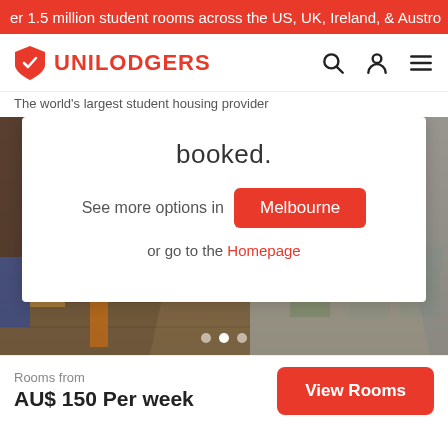er 1.5 million student rooms across the US, UK, Ireland, & Austro
[Figure (logo): Unilodgers shield logo in red with white shield icon, followed by UNILODGERS text in red bold uppercase]
The world's largest student housing provider
[Figure (screenshot): Outdoor patio photo showing chairs and table with sunlight, overlaid by a white modal card. Modal card shows text 'booked.' with a button 'See more options in Melbourne' and link 'or go to the Homepage'. Carousel dots visible at bottom.]
Rooms from
AU$ 150 Per week
View Rooms